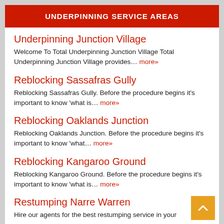UNDERPINNING SERVICE AREAS
Underpinning Junction Village
Welcome To Total Underpinning Junction Village Total Underpinning Junction Village provides... more»
Reblocking Sassafras Gully
Reblocking Sassafras Gully. Before the procedure begins it's important to know 'what is... more»
Reblocking Oaklands Junction
Reblocking Oaklands Junction. Before the procedure begins it's important to know 'what... more»
Reblocking Kangaroo Ground
Reblocking Kangaroo Ground. Before the procedure begins it's important to know 'what is... more»
Restumping Narre Warren
Hire our agents for the best restumping service in your